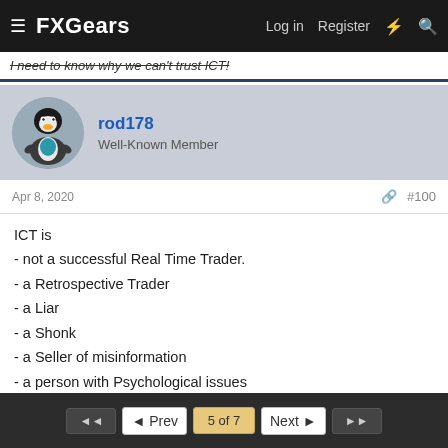FXGears  Log in  Register
I need to know why we can't trust ICT!
rod178
Well-Known Member
Apr 8, 2020  #100
ICT is
- not a successful Real Time Trader.
- a Retrospective Trader
- a Liar
- a Shonk
- a Seller of misinformation
- a person with Psychological issues
- a time waster
- an exploiter of the naive needy and greedy
- a Fat Tramp
◄◄  ◄ Prev  5 of 7  Next ►  ►►